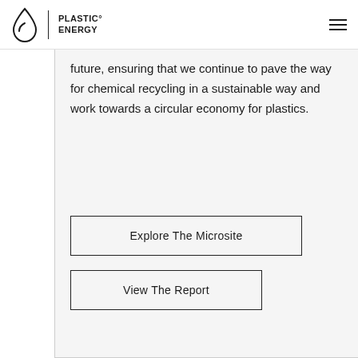PLASTIC ENERGY
future, ensuring that we continue to pave the way for chemical recycling in a sustainable way and work towards a circular economy for plastics.
Explore The Microsite
View The Report